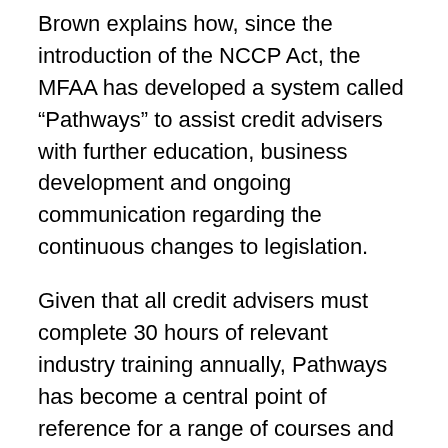Brown explains how, since the introduction of the NCCP Act, the MFAA has developed a system called “Pathways” to assist credit advisers with further education, business development and ongoing communication regarding the continuous changes to legislation.
Given that all credit advisers must complete 30 hours of relevant industry training annually, Pathways has become a central point of reference for a range of courses and events from providers vetted by the MFAA, as well as options offered by the MFAA itself. It allows credit advisers to select from webinars and interactive learn ing, or simply ordering CDs and books, or registering for a seminar or workshop. Credit advisers who are MFAA members also have online access to many legal and compliance resources. Extensive and easily accessible resources and support are a direct and